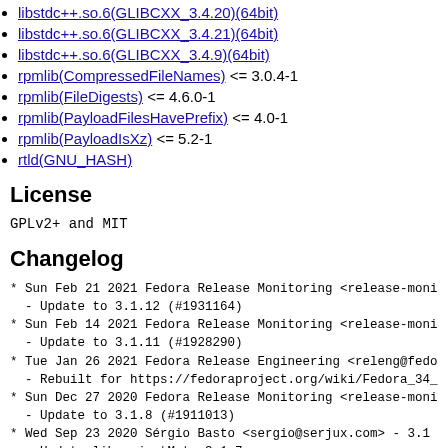libstdc++.so.6(GLIBCXX_3.4.20)(64bit)
libstdc++.so.6(GLIBCXX_3.4.21)(64bit)
libstdc++.so.6(GLIBCXX_3.4.9)(64bit)
rpmlib(CompressedFileNames) <= 3.0.4-1
rpmlib(FileDigests) <= 4.6.0-1
rpmlib(PayloadFilesHavePrefix) <= 4.0-1
rpmlib(PayloadIsXz) <= 5.2-1
rtld(GNU_HASH)
License
GPLv2+ and MIT
Changelog
* Sun Feb 21 2021 Fedora Release Monitoring <release-moni
    - Update to 3.1.12 (#1931164)
* Sun Feb 14 2021 Fedora Release Monitoring <release-moni
    - Update to 3.1.11 (#1928290)
* Tue Jan 26 2021 Fedora Release Engineering <releng@fedo
    - Rebuilt for https://fedoraproject.org/wiki/Fedora_34_
* Sun Dec 27 2020 Fedora Release Monitoring <release-moni
    - Update to 3.1.8 (#1911013)
* Wed Sep 23 2020 Sérgio Basto <sergio@serjux.com> - 3.1.
    - Update libprojectM to 3.1.7
* Tue Jul 28 2020 Fedora Release Engineering <releng@fedo
    - Rebuilt for https://fedoraproject.org/wiki/Fedora_33